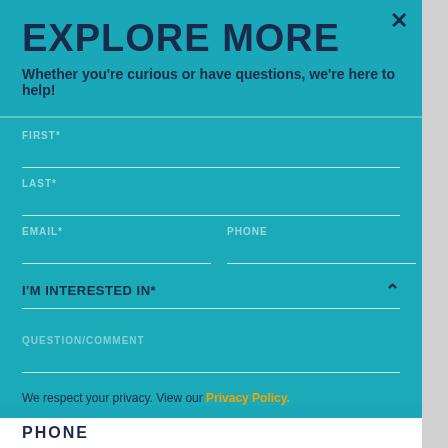EXPLORE MORE
Whether you’re curious or have questions, we’re here to help!
FIRST*
LAST*
EMAIL*
PHONE
I’M INTERESTED IN*
QUESTION/COMMENT
We respect your privacy. View our Privacy Policy.
PHONE